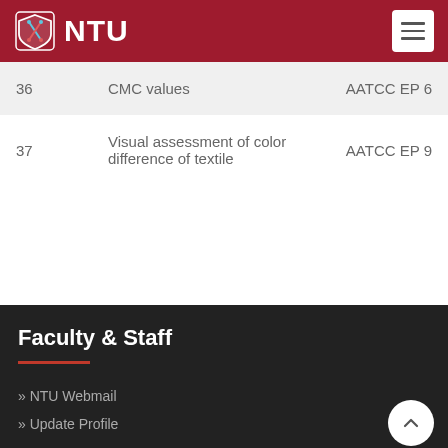NTU
| # | Description | Standard |
| --- | --- | --- |
| 36 | CMC values | AATCC EP 6 |
| 37 | Visual assessment of color difference of textile | AATCC EP 9 |
Faculty & Staff
» NTU Webmail
» Update Profile